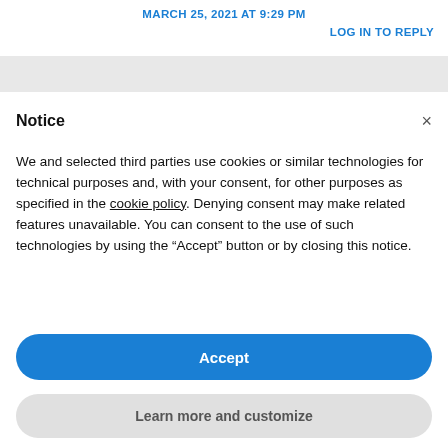MARCH 25, 2021 AT 9:29 PM
LOG IN TO REPLY
Notice
We and selected third parties use cookies or similar technologies for technical purposes and, with your consent, for other purposes as specified in the cookie policy. Denying consent may make related features unavailable. You can consent to the use of such technologies by using the “Accept” button or by closing this notice.
Accept
Learn more and customize